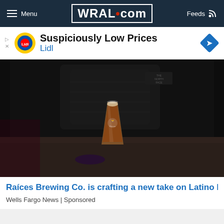Menu | WRAL.com | Feeds
[Figure (screenshot): Lidl advertisement banner: 'Suspiciously Low Prices — Lidl']
[Figure (photo): Person wearing a black North Face jacket holding a branded pint glass of amber beer on a dark wooden table]
Raíces Brewing Co. is crafting a new take on Latino b
Wells Fargo News | Sponsored